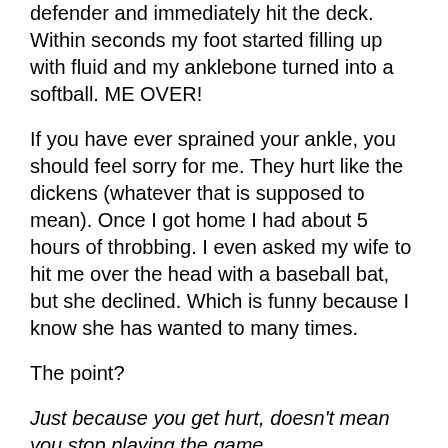defender and immediately hit the deck. Within seconds my foot started filling up with fluid and my anklebone turned into a softball. ME OVER!
If you have ever sprained your ankle, you should feel sorry for me. They hurt like the dickens (whatever that is supposed to mean). Once I got home I had about 5 hours of throbbing. I even asked my wife to hit me over the head with a baseball bat, but she declined. Which is funny because I know she has wanted to many times.
The point?
Just because you get hurt, doesn't mean you stop playing the game.
Not every video is going to be perfect, not every ad is going to be a winner. We do get hurt. I can't tell you how many times I thought I had the perfect advertising plan lined out, just to watch it fail.